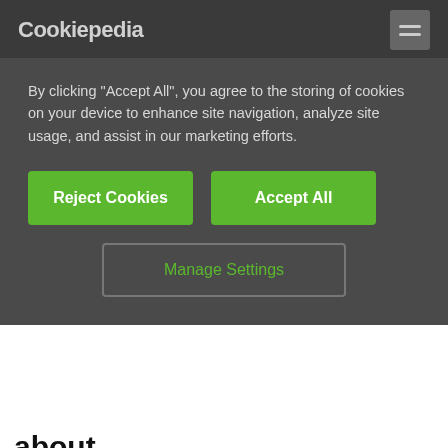Cookiepedia
By clicking “Accept All”, you agree to the storing of cookies on your device to enhance site navigation, analyze site usage, and assist in our marketing efforts.
Reject Cookies | Accept All | Manage Settings
about ASPSESSIONIDxxxxxx:
Category Unknown
We don’t have enough information about this cookie or the website hosting it to be able to assign it to a category at this time. However, we are constantly updating our knowledge base, so